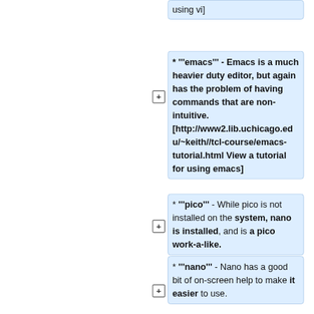using vi]
* '''emacs''' - Emacs is a much heavier duty editor, but again has the problem of having commands that are non-intuitive. [http://www2.lib.uchicago.edu/~keith//tcl-course/emacs-tutorial.html View a tutorial for using emacs]
* '''pico''' - While pico is not installed on the system, nano is installed, and is a pico work-a-like.
* '''nano''' - Nano has a good bit of on-screen help to make it easier to use.
The Torque scheduler is
===External Editors===